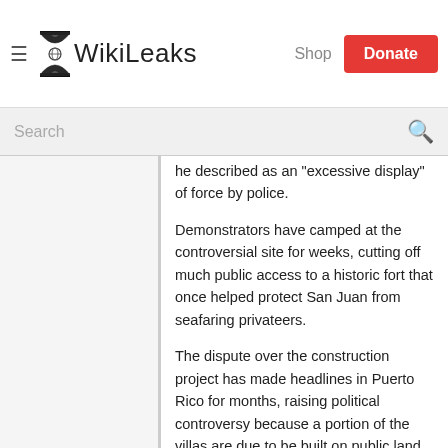WikiLeaks — Shop | Donate
Search
he described as an "excessive display" of force by police.
Demonstrators have camped at the controversial site for weeks, cutting off much public access to a historic fort that once helped protect San Juan from seafaring privateers.
The dispute over the construction project has made headlines in Puerto Rico for months, raising political controversy because a portion of the villas are due to be built on public land.
Shortly after the clash, Puerto Rico Gov. Anibal Acevedo Vila ordered all Paseo Caribe permits suspended for 60 days, but his order can't halt construction until the city's planning board and permit administration weigh in.
PUERTO RICO: FBI raids seek more than 100 drug suspects